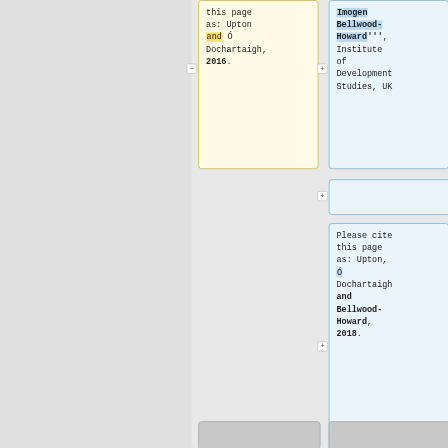this page as: Upton and Ó Dochartaigh, 2016.
Imogen Bellwood-Howard''', Institute of Development Studies, UK
Please cite this page as: Upton, Ó Dochartaigh and Bellwood-Howard, 2018.
Bibliographi
Bibliographi